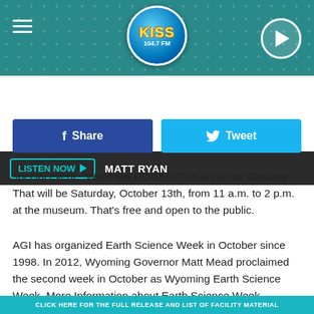[Figure (logo): KISS 104.7 FM radio station logo in blue circle with hamburger menu icon, play button]
LISTEN NOW ▶  MATT RYAN
[Figure (screenshot): Facebook Share button and Twitter Tweet button row]
special event,  "Wyoming ROCKS! The Art of our Geology". That will be Saturday, October 13th, from 11 a.m. to 2 p.m. at the museum. That's free and open to the public.
AGI has organized Earth Science Week in October since 1998. In 2012, Wyoming Governor Matt Mead proclaimed the second week in October as Wyoming Earth Science Week. More Information about Earth Science Week, including links to activities and learning resources, can be found on the WSGS education webpage and on the AGI website.
CLICK HERE FOR THE FULL RELEASE AND LIST OF FACILITY MATERIAL